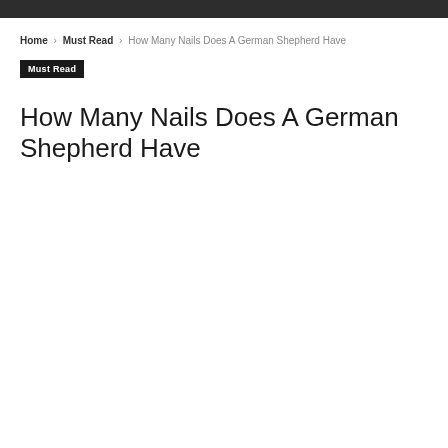Home › Must Read › How Many Nails Does A German Shepherd Have
Must Read
How Many Nails Does A German Shepherd Have